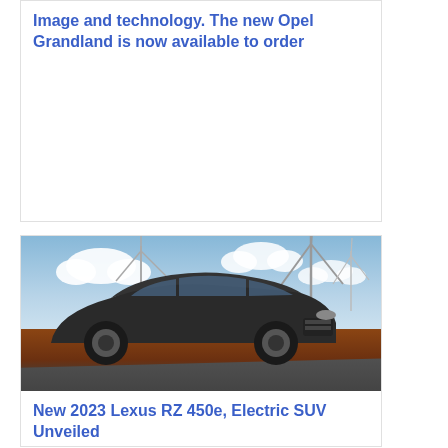Image and technology. The new Opel Grandland is now available to order
[Figure (photo): Gray Lexus RZ 450e electric SUV driving on a road with wind turbines in the background under a partly cloudy blue sky]
New 2023 Lexus RZ 450e, Electric SUV Unveiled